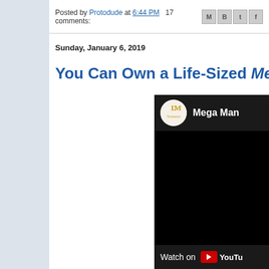Posted by Protodude at 6:44 PM   17 comments:
Sunday, January 6, 2019
You Can Own a Life-Sized Mega Ma…
[Figure (screenshot): YouTube video thumbnail showing LM Treasures channel logo (circle with 'LM Treasures' text in gold) and channel name 'Mega Man' on dark background, with 'Watch on YouTube' bar at bottom]